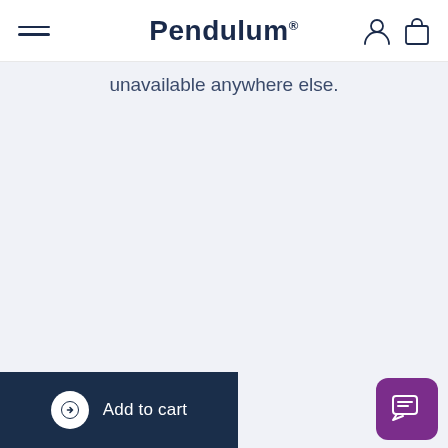Pendulum
unavailable anywhere else.
[Figure (screenshot): Add to cart button with dark navy background, white circle arrow icon, and white text]
[Figure (screenshot): Purple chat/messaging button in bottom right corner]